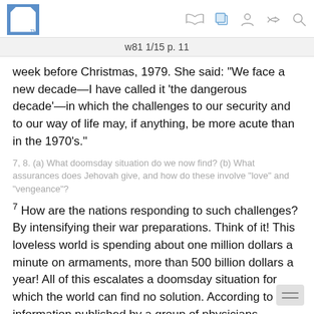w81 1/15 p. 11
week before Christmas, 1979. She said: “We face a new decade—I have called it ‘the dangerous decade’—in which the challenges to our security and to our way of life may, if anything, be more acute than in the 1970’s.”
7, 8. (a) What doomsday situation do we now find? (b) What assurances does Jehovah give, and how do these involve “love” and “vengeance”?
7 How are the nations responding to such challenges? By intensifying their war preparations. Think of it! This loveless world is spending about one million dollars a minute on armaments, more than 500 billion dollars a year! All of this escalates a doomsday situation for which the world can find no solution. According to information published by a group of physicians,